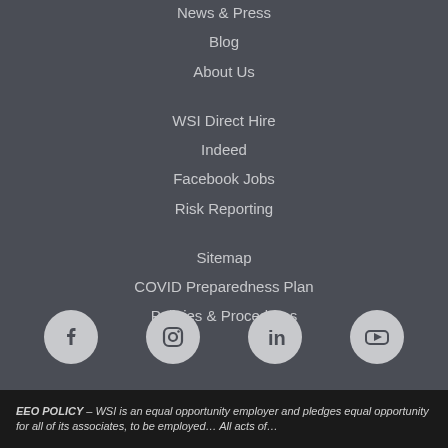News & Press
Blog
About Us
WSI Direct Hire
Indeed
Facebook Jobs
Risk Reporting
Sitemap
COVID Preparedness Plan
Policies & Procedures
[Figure (other): Social media icons row: Facebook, Instagram, LinkedIn, YouTube — white icons on light grey circular backgrounds]
EEO POLICY – WSI is an equal opportunity employer and pledges equal opportunity for all of its associates, to be employed… All acts of…